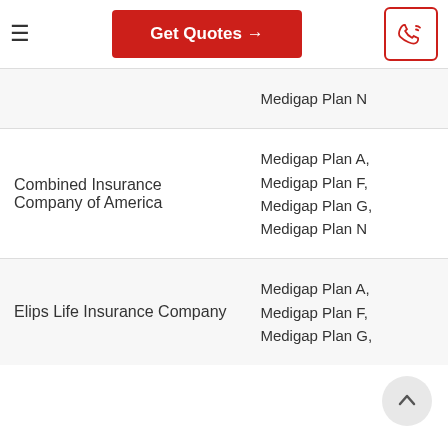Get Quotes →
| Company | Plans |
| --- | --- |
|  | Medigap Plan N |
| Combined Insurance Company of America | Medigap Plan A, Medigap Plan F, Medigap Plan G, Medigap Plan N |
| Elips Life Insurance Company | Medigap Plan A, Medigap Plan F, Medigap Plan G, |